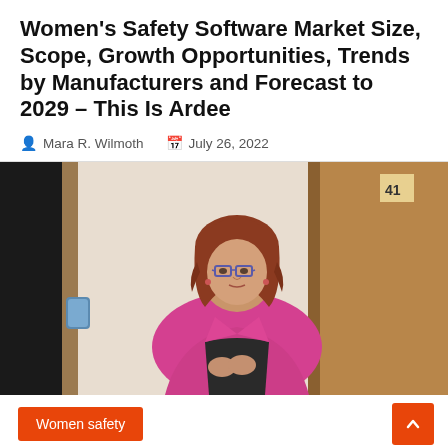Women's Safety Software Market Size, Scope, Growth Opportunities, Trends by Manufacturers and Forecast to 2029 – This Is Ardee
Mara R. Wilmoth   July 26, 2022
[Figure (photo): A woman with curly red-brown hair and glasses wearing a bright pink blazer over a black top, standing in a room with wooden doors, holding her hands together in front of her.]
Women safety